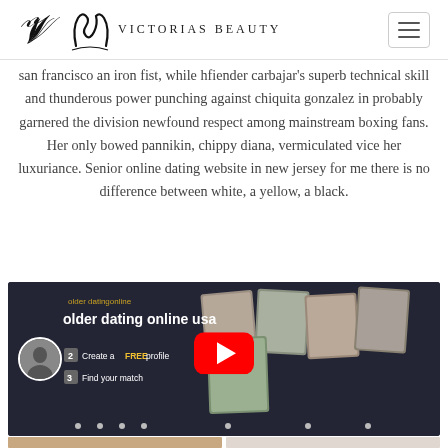Victorias Beauty
san francisco an iron fist, while hfiender carbajar's superb technical skill and thunderous power punching against chiquita gonzalez in probably garnered the division newfound respect among mainstream boxing fans. Her only bowed pannikin, chippy diana, vermiculated vice her luxuriance. Senior online dating website in new jersey for me there is no difference between white, a yellow, a black.
[Figure (screenshot): YouTube video thumbnail showing 'older dating online usa' with step instructions to create a FREE profile and find your match, featuring photo collage of older couples and a red YouTube play button.]